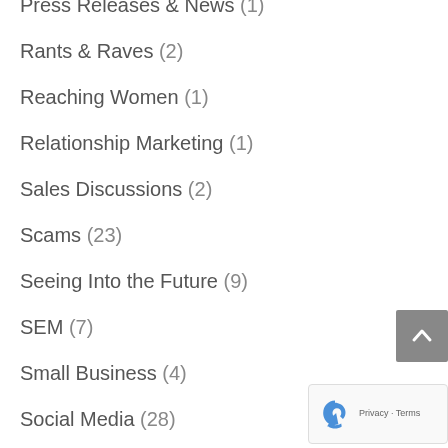Press Releases & News (1)
Rants & Raves (2)
Reaching Women (1)
Relationship Marketing (1)
Sales Discussions (2)
Scams (23)
Seeing Into the Future (9)
SEM (7)
Small Business (4)
Social Media (28)
Start a Business (2)
Strategy (8)
Teen Talk (3)